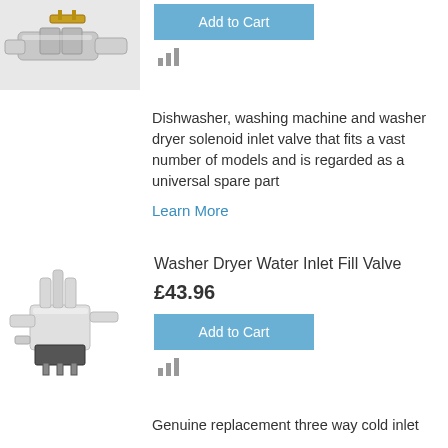[Figure (photo): Solenoid inlet valve for dishwasher/washing machine, white plastic with metal clamp]
Add to Cart
Dishwasher, washing machine and washer dryer solenoid inlet valve that fits a vast number of models and is regarded as a universal spare part
Learn More
Washer Dryer Water Inlet Fill Valve
£43.96
[Figure (photo): Washer dryer water inlet fill valve, white plastic three-way valve component]
Add to Cart
Genuine replacement three way cold inlet